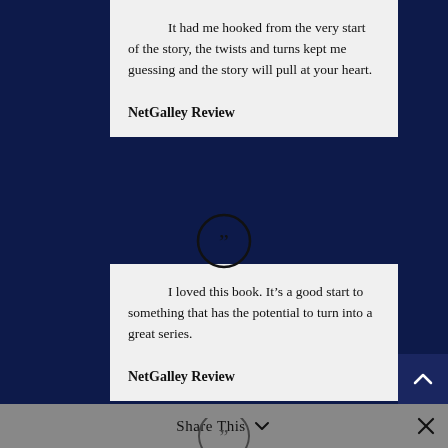It had me hooked from the very start of the story, the twists and turns kept me guessing and the story will pull at your heart.
NetGalley Review
[Figure (illustration): Quotation mark icon inside a circle]
I loved this book. It’s a good start to something that has the potential to turn into a great series.
NetGalley Review
Share This